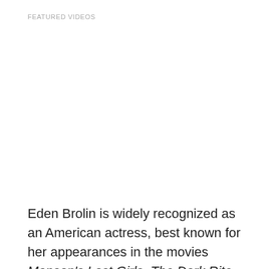FEATURED VIDEOS
Eden Brolin is widely recognized as an American actress, best known for her appearances in the movies Manson's Lost Girls, The Dark Rite, and Ruby Sparks. Her parents